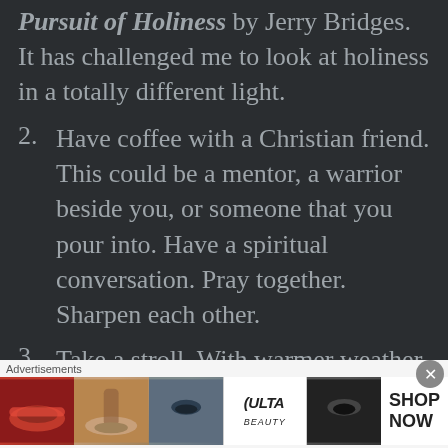Pursuit of Holiness by Jerry Bridges.  It has challenged me to look at holiness in a totally different light.
2. Have coffee with a Christian friend. This could be a mentor, a warrior beside you, or someone that you pour into.  Have a spiritual conversation.  Pray together.  Sharpen each other.
3. Take a stroll. With warmer weather creeping in, get outside
Advertisements
[Figure (photo): Advertisement banner for ULTA Beauty showing close-up images of faces/makeup with 'SHOP NOW' call to action]